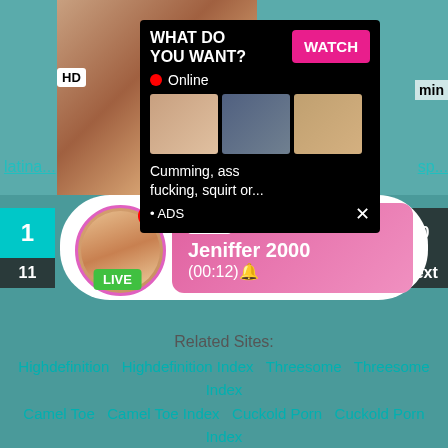[Figure (screenshot): Adult website screenshot showing a video thumbnail with an ad popup overlay. The popup reads 'WHAT DO YOU WANT?' with a pink WATCH button, Online status with red dot, three small thumbnails, text 'Cumming, ass fucking, squirt or...' and '• ADS' with a close X button.]
[Figure (infographic): Live ad card showing a profile photo with pink circular border, LIVE badge, notification badge showing '1', and a pink message box with 'ADS', 'Jeniffer 2000', '(00:12)' text]
Related Sites:
Highdefinition  Highdefinition Index  Threesome  Threesome Index  Camel Toe  Camel Toe Index  Cuckold Porn  Cuckold Porn Index  Xvideo  Xvideo Index  Thong  Thong Index  Porn Vidoes  Porn Vidoes Index  Deep  Deep Index  Erotica  Erotica Index  Cei